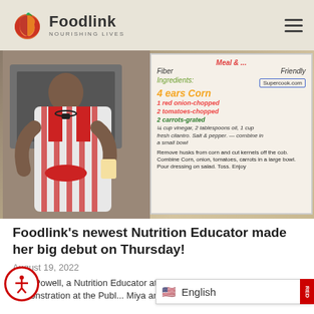Foodlink — NOURISHING LIVES
[Figure (photo): A woman in a red and white striped apron holding a cup, standing next to a whiteboard with a recipe for corn salad listing ingredients: 4 ears corn, 1 red onion-chopped, 2 tomatoes-chopped, 2 carrots-grated, 1/4 cup vinegar, 2 tablespoons oil, 1 cup fresh cilantro, salt & pepper. Directions: Remove husks from corn and cut kernels off the cob. Combine corn, onion, tomatoes, carrots in a large bowl. Pour dressing on salad. Toss. Enjoy.]
Foodlink's newest Nutrition Educator made her big debut on Thursday!
August 19, 2022
Miya Powell, a Nutrition Educator at Foodlink, held her first demonstration at the Publ... Miya and her fellow nutrition e...